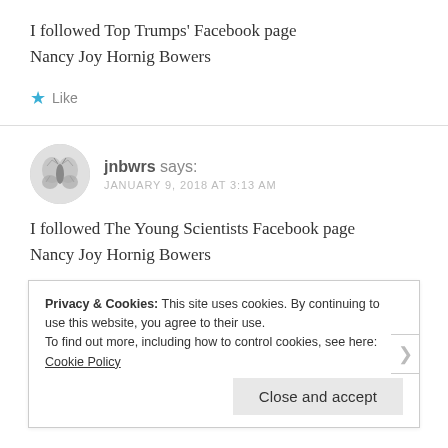I followed Top Trumps' Facebook page
Nancy Joy Hornig Bowers
Like
jnbwrs says:
JANUARY 9, 2018 AT 3:13 AM
I followed The Young Scientists Facebook page
Nancy Joy Hornig Bowers
Privacy & Cookies: This site uses cookies. By continuing to use this website, you agree to their use.
To find out more, including how to control cookies, see here: Cookie Policy
Close and accept